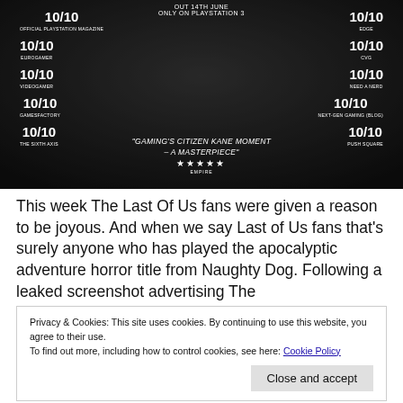[Figure (photo): Black and white promotional image for The Last of Us (PS3 game) showing two characters, with multiple 10/10 review scores on the left and right sides, a quote 'Gaming's Citizen Kane Moment – A Masterpiece' with 5 stars from Empire, and text at top reading 'OUT 14TH JUNE ONLY ON PLAYSTATION 3']
This week The Last Of Us fans were given a reason to be joyous. And when we say Last of Us fans that's surely anyone who has played the apocalyptic adventure horror title from Naughty Dog. Following a leaked screenshot advertising The
Privacy & Cookies: This site uses cookies. By continuing to use this website, you agree to their use.
To find out more, including how to control cookies, see here: Cookie Policy
Close and accept
from the PS3 version including the prequel Left Behind that